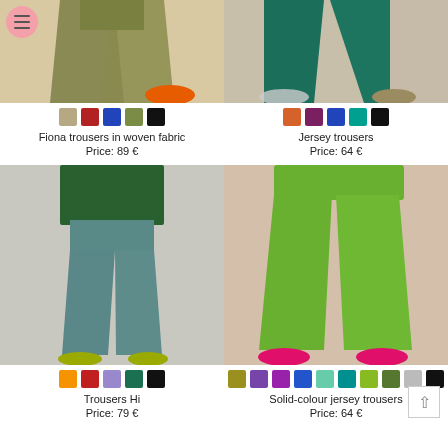[Figure (photo): Fiona trousers in woven fabric - model wearing olive/khaki wide-leg trousers with orange sneakers, cropped view]
Fiona trousers in woven fabric
Price: 89 €
[Figure (photo): Jersey trousers - model wearing dark teal/green wide-leg trousers with patterned sneakers, cropped view]
Jersey trousers
Price: 64 €
[Figure (photo): Trousers Hi - model wearing teal/slate blue tapered trousers with green shoes and dark green dotted top]
Trousers Hi
Price: 79 €
[Figure (photo): Solid-colour jersey trousers - model wearing bright green jersey trousers with pink sneakers]
Solid-colour jersey trousers
Price: 64 €